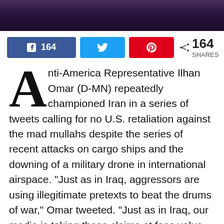[Figure (photo): Dark photo strip at top of page, likely showing a person on a horse or similar scene with purple/dark tones]
[Figure (infographic): Social sharing bar with Facebook (164 shares), Twitter, and Pinterest buttons, plus total 164 SHARES count]
Anti-America Representative Ilhan Omar (D-MN) repeatedly championed Iran in a series of tweets calling for no U.S. retaliation against the mad mullahs despite the series of recent attacks on cargo ships and the downing of a military drone in international airspace. “Just as in Iraq, aggressors are using illegitimate pretexts to beat the drums of war,” Omar tweeted. “Just as in Iraq, our media is taking these claims at face value. Just as in Iraq, children will die, American lives will be lost, and the world will be less safe. #NoWarWithIran” Omar even had the gall to